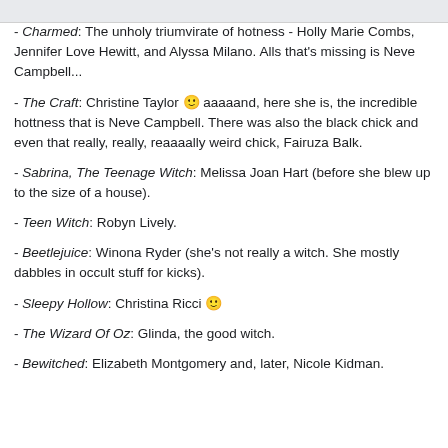- Charmed: The unholy triumvirate of hotness - Holly Marie Combs, Jennifer Love Hewitt, and Alyssa Milano. Alls that's missing is Neve Campbell...
- The Craft: Christine Taylor 🙂 aaaaand, here she is, the incredible hottness that is Neve Campbell. There was also the black chick and even that really, really, reaaaally weird chick, Fairuza Balk.
- Sabrina, The Teenage Witch: Melissa Joan Hart (before she blew up to the size of a house).
- Teen Witch: Robyn Lively.
- Beetlejuice: Winona Ryder (she's not really a witch. She mostly dabbles in occult stuff for kicks).
- Sleepy Hollow: Christina Ricci 🙂
- The Wizard Of Oz: Glinda, the good witch.
- Bewitched: Elizabeth Montgomery and, later, Nicole Kidman.